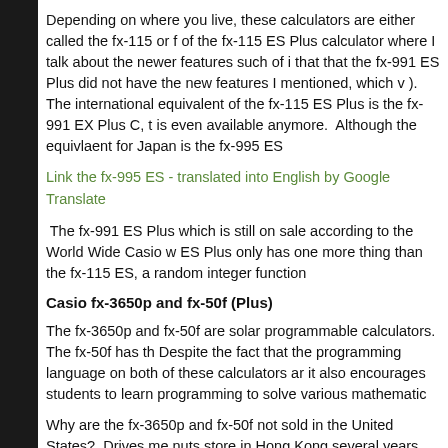Depending on where you live, these calculators are either called the fx-115 or f of the fx-115 ES Plus calculator where I talk about the newer features such of i that that the fx-991 ES Plus did not have the new features I mentioned, which v ). The international equivalent of the fx-115 ES Plus is the fx-991 EX Plus C, t is even available anymore. Although the equivlaent for Japan is the fx-995 ES
Link the fx-995 ES - translated into English by Google Translate
The fx-991 ES Plus which is still on sale according to the World Wide Casio w ES Plus only has one more thing than the fx-115 ES, a random integer function
Casio fx-3650p and fx-50f (Plus)
The fx-3650p and fx-50f are solar programmable calculators. The fx-50f has th Despite the fact that the programming language on both of these calculators ar it also encourages students to learn programming to solve various mathematic
Why are the fx-3650p and fx-50f not sold in the United States? Drives me nuts store in Hong Kong several years.
Here are links to the Casio world-wide site:
fx-3650p:  http://edu.casio.com/products/program/fx3650p/
fx-50f Plus: http://edu.casio.com/products/program/fx50fp/
Apparently, there are now several varieties of the fx-50f.